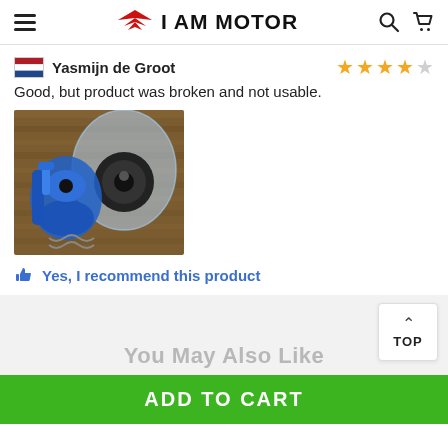I AM MOTOR
Yasmijn de Groot
Good, but product was broken and not usable.
[Figure (photo): Photo of broken motorcycle/scooter part - blue plastic component and a circular metal part in a plastic bag, on a wooden surface]
Yes, I recommend this product
You May Also Like
ADD TO CART